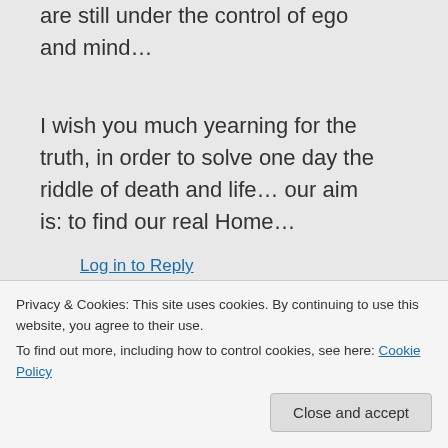are still under the control of ego and mind…
I wish you much yearning for the truth, in order to solve one day the riddle of death and life… our aim is: to find our real Home…
Love and light to you, dear friend -let sunshine enter your heart 🙂
Log in to Reply
Privacy & Cookies: This site uses cookies. By continuing to use this website, you agree to their use.
To find out more, including how to control cookies, see here: Cookie Policy
Close and accept